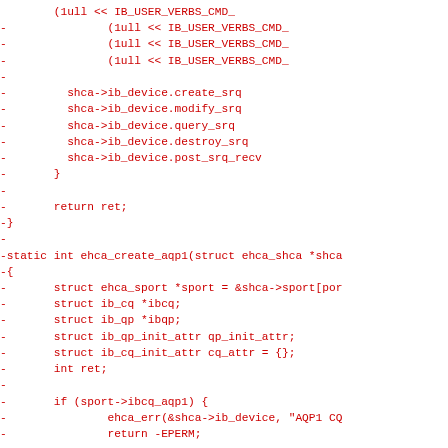[Figure (other): Code diff snippet in red monospace font showing removed lines of C code including IB_USER_VERBS_CMD_ bit shifts, shca->ib_device function pointers, return ret, static int ehca_create_aqp1 function definition, and variable declarations]